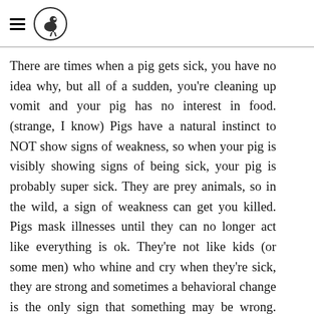[hamburger menu icon] [logo - bird illustration in circle]
There are times when a pig gets sick, you have no idea why, but all of a sudden, you're cleaning up vomit and your pig has no interest in food. (strange, I know) Pigs have a natural instinct to NOT show signs of weakness, so when your pig is visibly showing signs of being sick, your pig is probably super sick. They are prey animals, so in the wild, a sign of weakness can get you killed. Pigs mask illnesses until they can no longer act like everything is ok. They're not like kids (or some men) who whine and cry when they're sick, they are strong and sometimes a behavioral change is the only sign that something may be wrong. They gradually start showing other signs as they get sicker, but there have even been times when the parents didn't notice anything was wrong and they woke up to find their